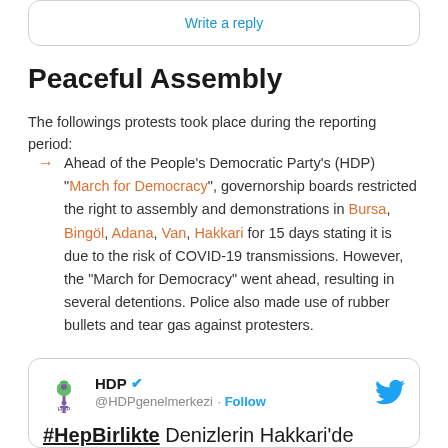[Figure (screenshot): Partial top of a social media reply box showing a 'Write a Reply' link, cut off at the top of the page]
Peaceful Assembly
The followings protests took place during the reporting period:
Ahead of the People's Democratic Party's (HDP) "March for Democracy", governorship boards restricted the right to assembly and demonstrations in Bursa, Bingöl, Adana, Van, Hakkari for 15 days stating it is due to the risk of COVID-19 transmissions. However, the "March for Democracy" went ahead, resulting in several detentions. Police also made use of rubber bullets and tear gas against protesters.
[Figure (screenshot): Tweet from HDP (@HDPgenelerkezi) showing the beginning of a tweet: '#HepBirlikte Denizlerin Hakkari'de kurdukları Devrimci Gençlik Köprüsü'nde, onların izinde...' with HDP logo, verified badge, Follow button, and Twitter bird icon]